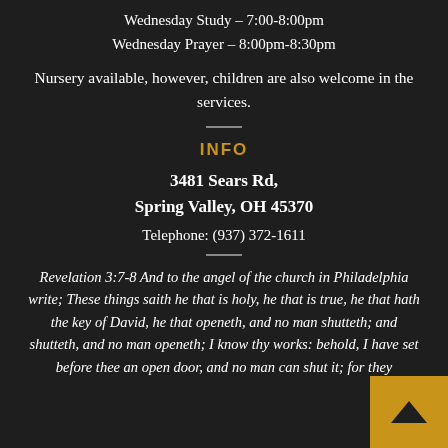Wednesday Study – 7:00-8:00pm
Wednesday Prayer – 8:00pm-8:30pm
Nursery available, however, children are also welcome in the services.
INFO
3481 Sears Rd,
Spring Valley, OH 45370
Telephone: (937) 372-1611
Revelation 3:7-8 And to the angel of the church in Philadelphia write; These things saith he that is holy, he that is true, he that hath the key of David, he that openeth, and no man shutteth; and shutteth, and no man openeth; I know thy works: behold, I have set before thee an open door, and no man can shut it; for they